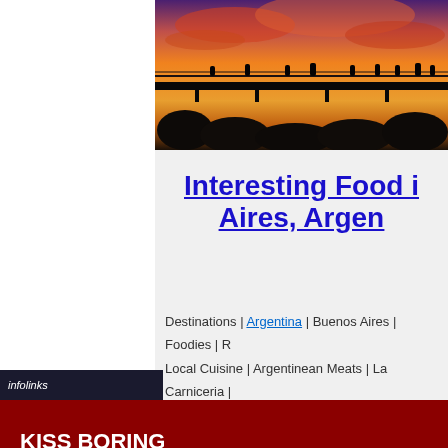[Figure (photo): Silhouette of people on a bridge at sunset with dramatic orange and purple sky]
Interesting Food in Buenos Aires, Argentina
Destinations | Argentina | Buenos Aires | Foodies | R...
Local Cuisine | Argentinean Meats | La Carniceria |...
Baqueano | Floreria Atlantico | Parrilla Do...
[Figure (other): Macy's advertisement banner: KISS BORING LIPS GOODBYE with woman wearing red lipstick, SHOP NOW button and Macy's logo]